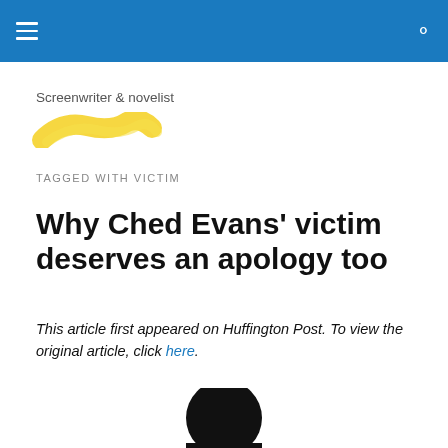Screenwriter & novelist
TAGGED WITH VICTIM
Why Ched Evans' victim deserves an apology too
This article first appeared on Huffington Post. To view the original article, click here.
[Figure (photo): Silhouette of a person's head against white background, cropped at bottom of page]